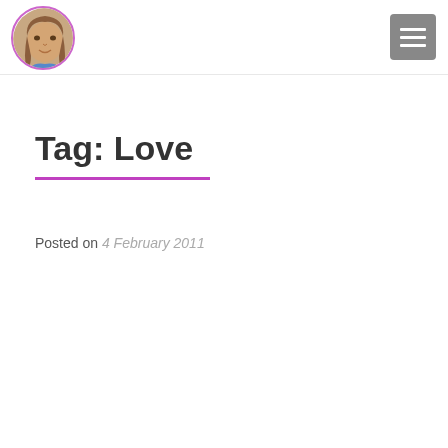[Figure (photo): Circular avatar photo of a person with long hair, with a light purple/pink circular border]
[Figure (other): Gray hamburger menu button with three horizontal white lines]
Tag: Love
Posted on 4 February 2011